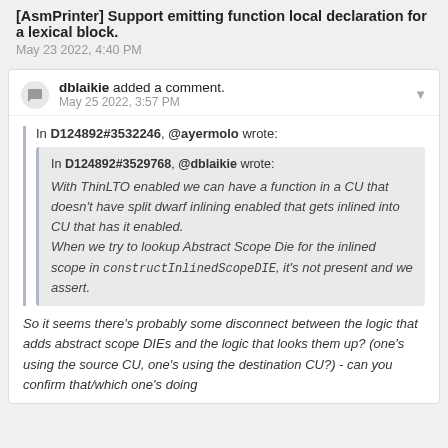[AsmPrinter] Support emitting function local declaration for a lexical block.
May 23 2022, 4:40 PM
dblaikie added a comment.
May 25 2022, 3:57 PM
In D124892#3532246, @ayermolo wrote:
In D124892#3529768, @dblaikie wrote:
With ThinLTO enabled we can have a function in a CU that doesn't have split dwarf inlining enabled that gets inlined into CU that has it enabled.
When we try to lookup Abstract Scope Die for the inlined scope in constructInlinedScopeDIE, it's not present and we assert.
So it seems there's probably some disconnect between the logic that adds abstract scope DIEs and the logic that looks them up? (one's using the source CU, one's using the destination CU?) - can you confirm that/which one's doing